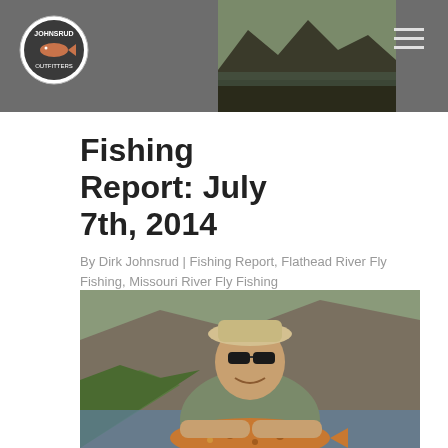Johnsrud Outfitters – site header with logo, hero image, and navigation
Fishing Report: July 7th, 2014
By Dirk Johnsrud | Fishing Report, Flathead River Fly Fishing, Missouri River Fly Fishing
Browns-Rainbows-Cutthroat “We have it”
[Figure (photo): Man smiling and holding a large brown trout near a river with green grass and rocky cliffs in the background]